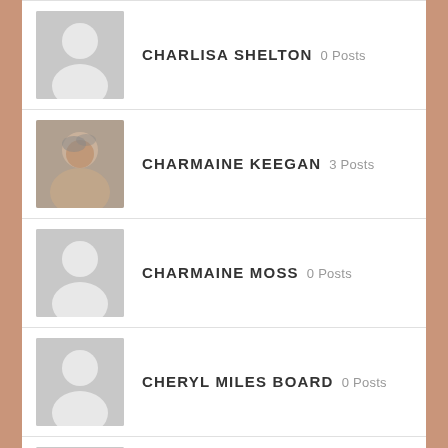CHARLISA SHELTON 0 Posts
CHARMAINE KEEGAN 3 Posts
CHARMAINE MOSS 0 Posts
CHERYL MILES BOARD 0 Posts
CHRISSIE FRANCIS 0 Posts
CHRISSIE STOBBS 0 Posts